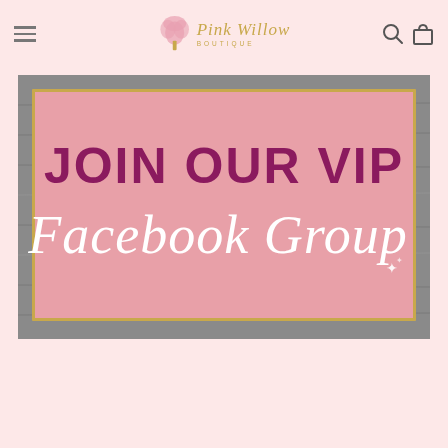Pink Willow Boutique
[Figure (illustration): Promotional banner for Pink Willow Boutique VIP Facebook Group. Pink background with gray wood frame border and gold trim. Text reads JOIN OUR VIP in bold dark magenta uppercase letters, and Facebook Group in large white cursive script below.]